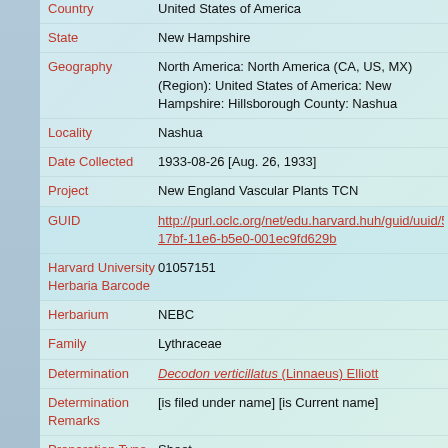| Field | Value |
| --- | --- |
| Country | United States of America |
| State | New Hampshire |
| Geography | North America: North America (CA, US, MX) (Region): United States of America: New Hampshire: Hillsborough County: Nashua |
| Locality | Nashua |
| Date Collected | 1933-08-26 [Aug. 26, 1933] |
| Project | New England Vascular Plants TCN |
| GUID | http://purl.oclc.org/net/edu.harvard.huh/guid/uuid/55217bf-11e6-b5e0-001ec9fd629b |
| Harvard University Herbaria Barcode | 01057151 |
| Herbarium | NEBC |
| Family | Lythraceae |
| Determination | Decodon verticillatus (Linnaeus) Elliott |
| Determination Remarks | [is filed under name] [is Current name] |
| Preparation Type | Sheet |
| Preparation Method | Pressed |